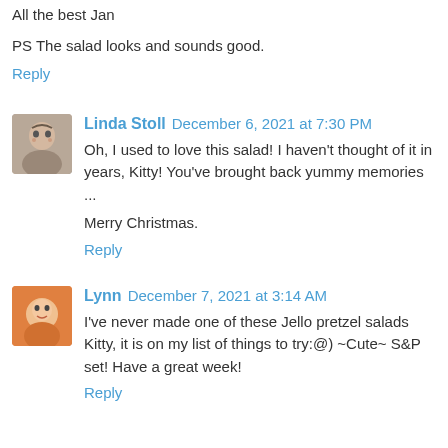All the best Jan
PS The salad looks and sounds good.
Reply
Linda Stoll December 6, 2021 at 7:30 PM
Oh, I used to love this salad! I haven't thought of it in years, Kitty! You've brought back yummy memories ...
Merry Christmas.
Reply
Lynn December 7, 2021 at 3:14 AM
I've never made one of these Jello pretzel salads Kitty, it is on my list of things to try:@) ~Cute~ S&P set! Have a great week!
Reply